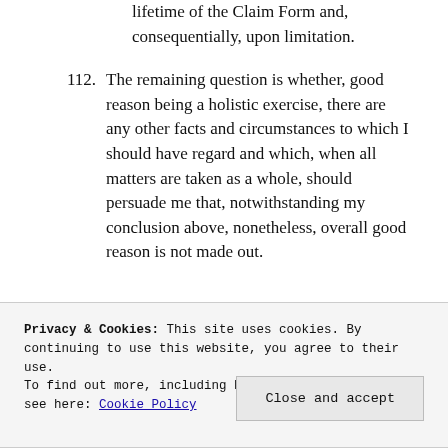lifetime of the Claim Form and, consequentially, upon limitation.
112. The remaining question is whether, good reason being a holistic exercise, there are any other facts and circumstances to which I should have regard and which, when all matters are taken as a whole, should persuade me that, notwithstanding my conclusion above, nonetheless, overall good reason is not made out.
Privacy & Cookies: This site uses cookies. By continuing to use this website, you agree to their use.
To find out more, including how to control cookies, see here: Cookie Policy